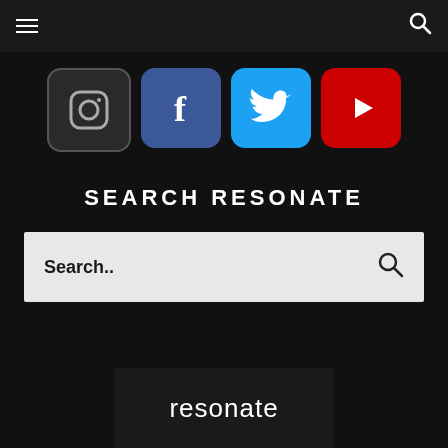Navigation bar with hamburger menu and search icon
[Figure (illustration): Four social media icons in a row: Instagram (dark rounded square), Facebook (blue with f), Twitter (blue with bird), YouTube (red with play button)]
SEARCH RESONATE
Search..
[Figure (logo): Resonate logo — white lowercase text 'resonate' on dark background block]